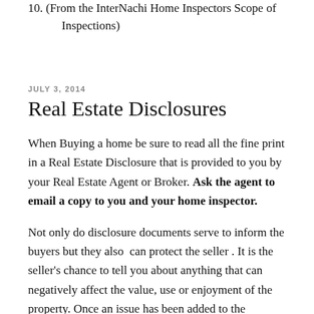10. (From the InterNachi Home Inspectors Scope of Inspections)
JULY 3, 2014
Real Estate Disclosures
When Buying a home be sure to read all the fine print in a Real Estate Disclosure that is provided to you by your Real Estate Agent or Broker. Ask the agent to email a copy to you and your home inspector.
Not only do disclosure documents serve to inform the buyers but they also  can protect the seller . It is the seller's chance to tell you about anything that can negatively affect the value, use or enjoyment of the property. Once an issue has been added to the disclosure the seller is covering his or her self from Future legal Action.